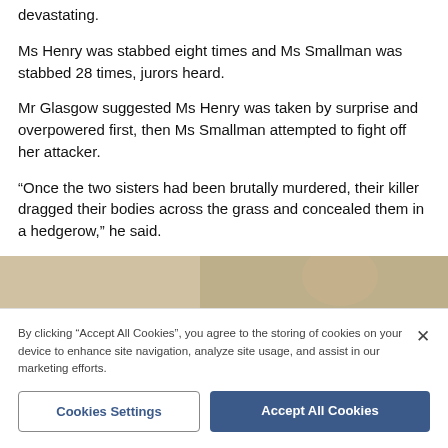devastating.
Ms Henry was stabbed eight times and Ms Smallman was stabbed 28 times, jurors heard.
Mr Glasgow suggested Ms Henry was taken by surprise and overpowered first, then Ms Smallman attempted to fight off her attacker.
“Once the two sisters had been brutally murdered, their killer dragged their bodies across the grass and concealed them in a hedgerow,” he said.
[Figure (photo): Partial photograph visible behind cookie consent banner]
By clicking “Accept All Cookies”, you agree to the storing of cookies on your device to enhance site navigation, analyze site usage, and assist in our marketing efforts.
Cookies Settings
Accept All Cookies